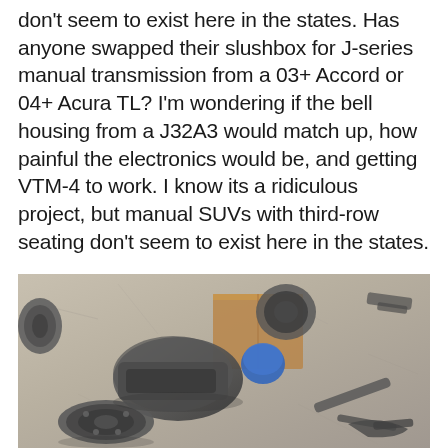don't seem to exist here in the states. Has anyone swapped their slushbox for J-series manual transmission from a 03+ Accord or 04+ Acura TL? I'm wondering if the bell housing from a J32A3 would match up, how painful the electronics would be, and getting VTM-4 to work. I know its a ridiculous project, but manual SUVs with third-row seating don't seem to exist here in the states.
[Figure (photo): Overhead photo of automotive transmission parts and components laid out on a concrete garage floor, including gearbox housing, clutch assembly, and various mechanical parts with a blue cap visible.]